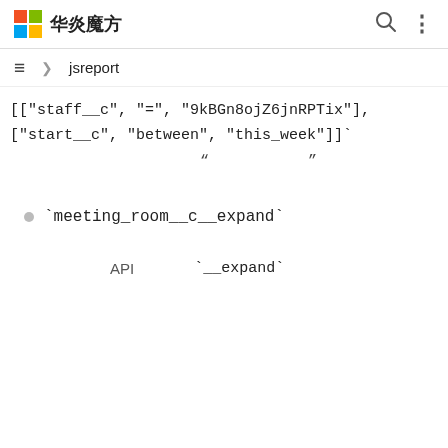华炎魔方
> jsreport
[["staff__c", "=", "9kBGn8ojZ6jnRPTix"], ["start__c", "between", "this_week"]]`
" "
`meeting_room__c__expand`
API `__expand`